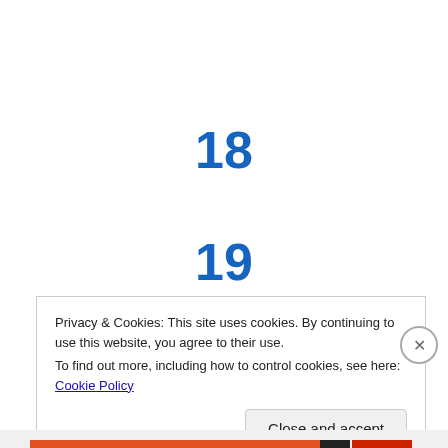18
19
20
Privacy & Cookies: This site uses cookies. By continuing to use this website, you agree to their use.
To find out more, including how to control cookies, see here: Cookie Policy
Close and accept